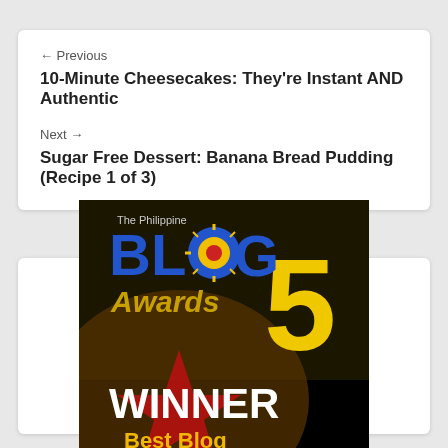← Previous
10-Minute Cheesecakes: They're Instant AND Authentic
Next →
Sugar Free Dessert: Banana Bread Pudding (Recipe 1 of 3)
[Figure (logo): The Philippine Blog Awards 5 - Winner Best Blog Food & Beverage Category badge]